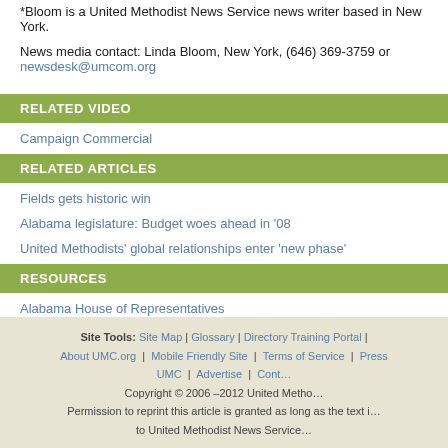*Bloom is a United Methodist News Service news writer based in New York.
News media contact: Linda Bloom, New York, (646) 369-3759 or newsdesk@umcom.org
RELATED VIDEO
Campaign Commercial
RELATED ARTICLES
Fields gets historic win
Alabama legislature: Budget woes ahead in '08
United Methodists' global relationships enter 'new phase'
RESOURCES
Alabama House of Representatives
Commission on Christian Unity
Site Tools: Site Map | Glossary | Directory Training Portal | About UMC.org | Mobile Friendly Site | Terms of Service | Press ... UMC | Advertise | Cont... Copyright © 2006 –2012 United Metho... Permission to reprint this article is granted as long as the text i... to United Methodist News Service...